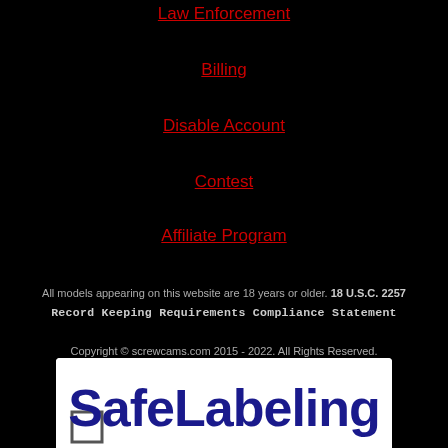Law Enforcement
Billing
Disable Account
Contest
Affiliate Program
All models appearing on this website are 18 years or older. 18 U.S.C. 2257 Record Keeping Requirements Compliance Statement
Copyright © screwcams.com 2015 - 2022. All Rights Reserved. Powered by ScrewCams.com
[Figure (logo): SafeLabeling logo with checkbox icon on white background]